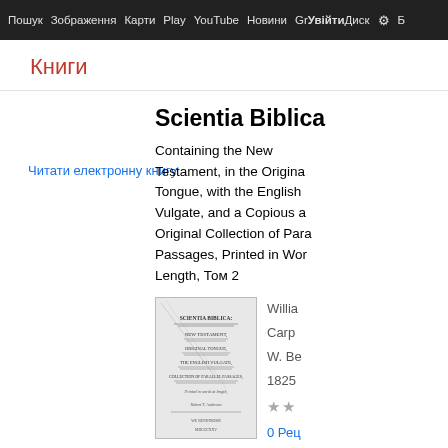Пошук  Зображення  Карти  Play  YouTube  Новини  Gmail  Диск  ⚙  Б
Книги
Scientia Biblica
Containing the New Testament, in the Original Tongue, with the English Vulgate, and a Copious and Original Collection of Parallel Passages, Printed in Words at Length, Том 2
Читати електронну книгу
[Figure (photo): Scanned title page of Scientia Biblica book showing the title 'SCIENTIA BIBLICA: NEW TESTAMENT, GENERAL TONGUE, THE ENGLISH VULGATE, COLLECTION OF PARALLEL PASSAGES' in old typeset print]
William Carpenter
W. Benning
1825
0 Рецензій